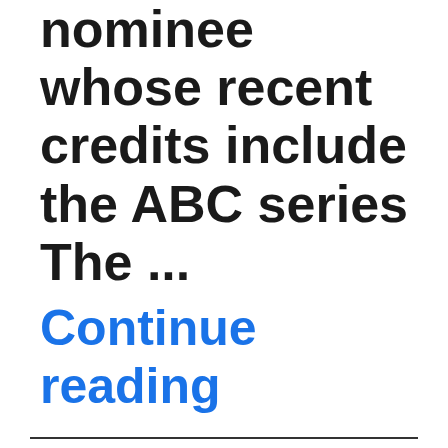nominee whose recent credits include the ABC series The ...
Continue reading
Jamie Lee Curtis in Halloween Kills b... OIFF Afte...